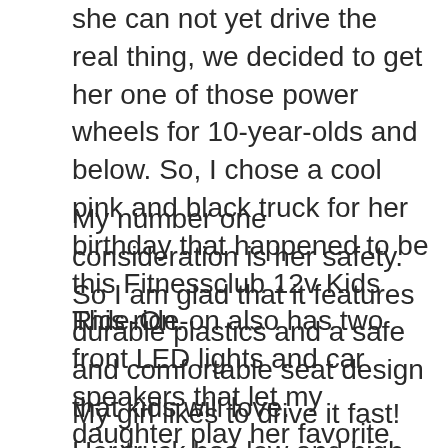she can not yet drive the real thing, we decided to get her one of those power wheels for 10-year-olds and below. So, I chose a cool pink and black truck for her birthday that happened to be this Fitnessclub 12v Kids Ride-On.
My number one consideration is her safety. So I am glad that it features durable plastics and a safe and comfortable seat design that kids will love.
This ride-on also has two front LED lights and car speakers that let my daughter play her favorite music through its USB port.
My girl likes to drive it fast! Her truck has low and high speeds in manual mode, while in